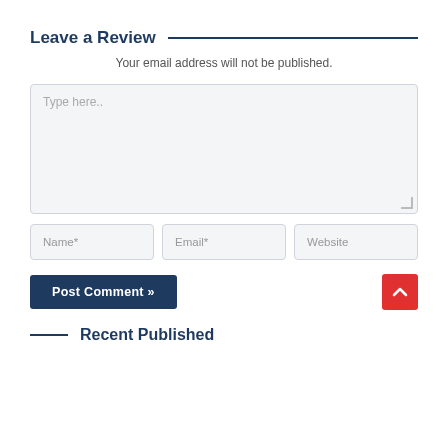Leave a Review
Your email address will not be published.
[Figure (other): Large text input area with placeholder text 'Type here..' and resize handle]
[Figure (other): Three form input fields: Name*, Email*, Website]
[Figure (other): Post Comment button and back-to-top arrow button]
Recent Published